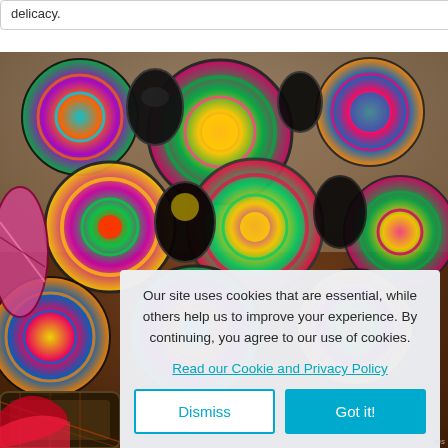delicacy.
[Figure (photo): Colorful woven baskets and decorative plates hanging in a market stall, displaying vibrant patterns in pink, green, yellow, red and other colors.]
Our site uses cookies that are essential, while others help us to improve your experience. By continuing, you agree to our use of cookies.
Read our Cookie and Privacy Policy
Dismiss
Got it!